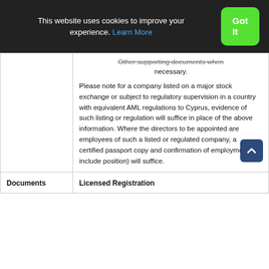This website uses cookies to improve your experience. Learn More
Got It
Other supporting documents when necessary.
Please note for a company listed on a major stock exchange or subject to regulatory supervision in a country with equivalent AML regulations to Cyprus, evidence of such listing or regulation will suffice in place of the above information. Where the directors to be appointed are employees of such a listed or regulated company, a certified passport copy and confirmation of employment (to include position) will suffice.
| Documents | Licensed Registration |
| --- | --- |